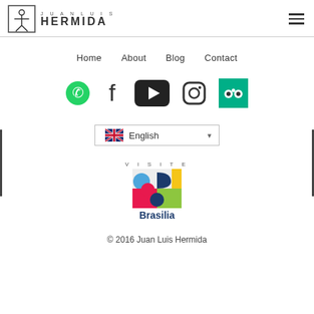JUAN LUIS HERMIDA
Home
About
Blog
Contact
[Figure (infographic): Social media icons: WhatsApp (green), Facebook, YouTube (black play button), Instagram, TripAdvisor (teal/green background)]
[Figure (screenshot): Language selector dropdown showing UK flag and 'English' text]
[Figure (logo): Visite Brasilia logo - colorful 2x2 grid of shapes (blue, dark blue, yellow, pink, teal) with text 'VISITE' above and 'Brasilia' below]
© 2016 Juan Luis Hermida